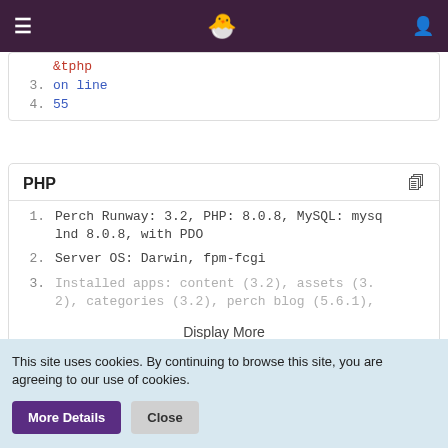Navigation bar with hamburger menu, logo, and user icon
[Figure (screenshot): Partial code block showing line 3 'on line' and line 4 '55' in blue monospace font on white background]
PHP
1. Perch Runway: 3.2, PHP: 8.0.8, MySQL: mysqInd 8.0.8, with PDO
2. Server OS: Darwin, fpm-fcgi
3. Installed apps: content (3.2), assets (3.2), categories (3.2), perch blog (5.6.1),
Display More
This site uses cookies. By continuing to browse this site, you are agreeing to our use of cookies.